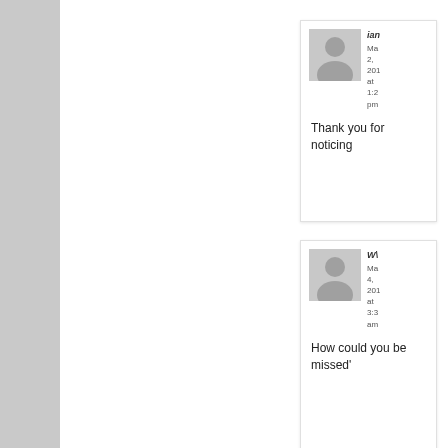[Figure (screenshot): Comment block 1: avatar placeholder (gray), author 'ian', date 'Ma 2, 201 at 1:2 pm', comment text 'Thank you for noticing']
[Figure (screenshot): Comment block 2: avatar placeholder (gray), author 'W\', date 'Ma 4, 201 at 3:3 am', comment text 'How could you be missed']